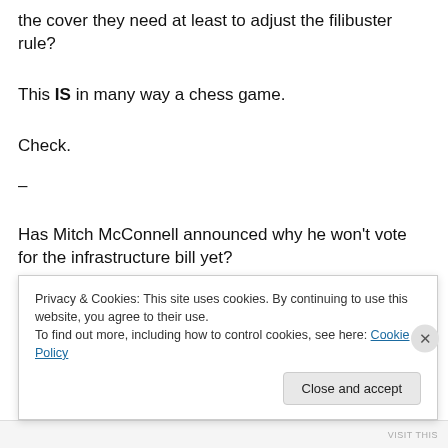the cover they need at least to adjust the filibuster rule?
This IS in many way a chess game.
Check.
–
Has Mitch McConnell announced why he won't vote for the infrastructure bill yet?
–
Mike Pence contradicts the Former Guy about the election
Privacy & Cookies: This site uses cookies. By continuing to use this website, you agree to their use.
To find out more, including how to control cookies, see here: Cookie Policy
Close and accept